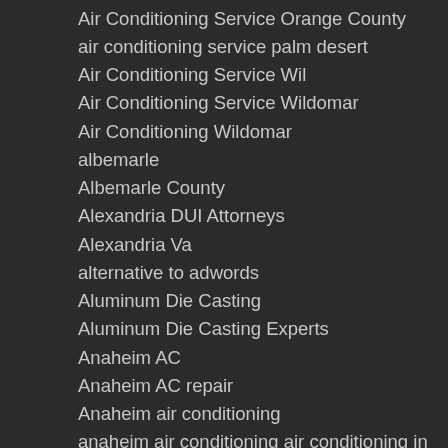Air Conditioning Service Orange County
air conditioning service palm desert
Air Conditioning Service Wil
Air Conditioning Service Wildomar
Air Conditioning Wildomar
albemarle
Albemarle County
Alexandria DUI Attorneys
Alexandria Va
alternative to adwords
Aluminum Die Casting
Aluminum Die Casting Experts
Anaheim AC
Anaheim AC repair
Anaheim air conditioning
anaheim air conditioning air conditioning in anaheim california